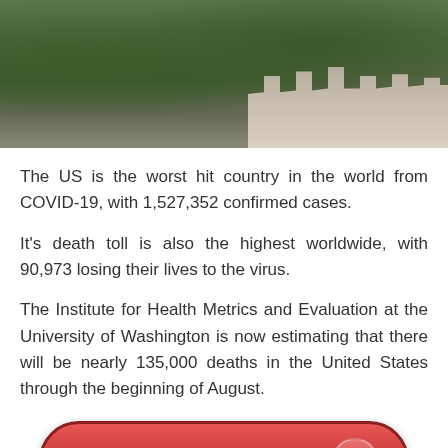[Figure (photo): Aerial or street-level photo showing trees and a government building (likely the US Capitol or similar) in the background, with green foliage in the foreground.]
The US is the worst hit country in the world from COVID-19, with 1,527,352 confirmed cases.
It's death toll is also the highest worldwide, with 90,973 losing their lives to the virus.
The Institute for Health Metrics and Evaluation at the University of Washington is now estimating that there will be nearly 135,000 deaths in the United States through the beginning of August.
[Figure (other): A red rounded-rectangle button labeled NEXT with a right-pointing arrow circle on the right side, and text 'on Newz Online' below right.]